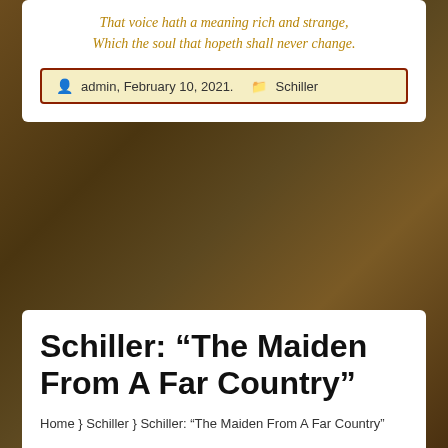Which the soul that hopeth shall never change.
admin, February 10, 2021.   Schiller
Schiller: “The Maiden From A Far Country”
Home } Schiller } Schiller: “The Maiden From A Far Country”
Excerpt, “German Ballads.” Translated and Edited by Elizabeth Craigmyle. 1898.
[Figure (photo): Floral painting with roses and green foliage, partially visible at bottom of page]